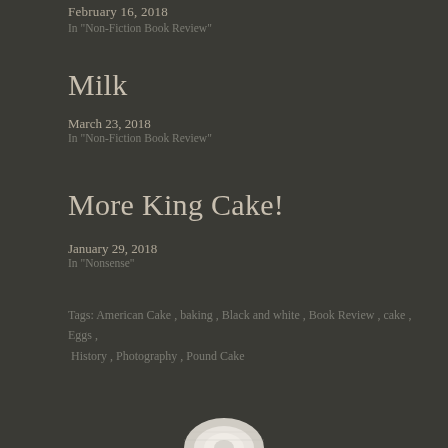February 16, 2018
In "Non-Fiction Book Review"
Milk
March 23, 2018
In "Non-Fiction Book Review"
More King Cake!
January 29, 2018
In "Nonsense"
Tags:  American Cake ,  baking ,  Black and white ,  Book Review ,  cake ,  Eggs ,  History ,  Photography ,  Pound Cake
[Figure (photo): Partial bottom image of a cake or baked good, black and white, at the bottom of the page]